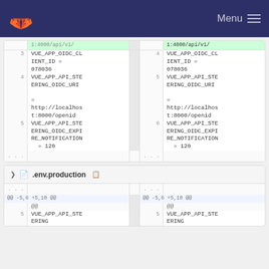GitLab — Menu
[Figure (screenshot): Code diff panel showing .env file changes. Lines 3-5 on left (old), lines 4-6 on right (new). Content includes VUE_APP_OIDC_CLIENT_ID = 078036, VUE_APP_API_STEERING_OIDC_URI = http://localhost:8000/openid, VUE_APP_API_STEERING_OIDC_EXPIRE_NOTIFICATION = 120. Ellipsis rows at bottom.]
[Figure (screenshot): Second diff panel for .env.production file. Hunk header @@ -5,6 +5,10 @@, shows VUE_APP_API_STEERING line at line 5 on both sides.]